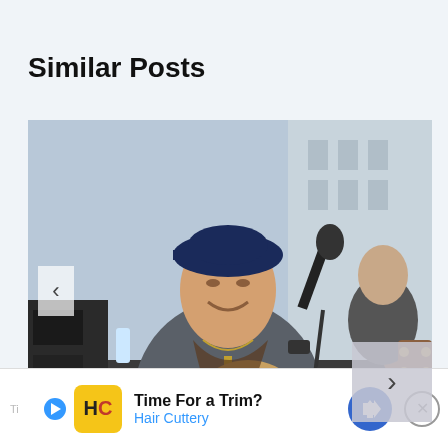Similar Posts
[Figure (photo): A male country music singer wearing a dark baseball cap and gray t-shirt with a guitar strap, playing acoustic guitar and singing into a microphone on an outdoor stage. Another guitarist is visible in the background on the right.]
[Figure (infographic): Advertisement bar at the bottom: 'Time For a Trim? Hair Cuttery' with yellow HC logo, blue play button, blue navigation arrow icon, and a close X button.]